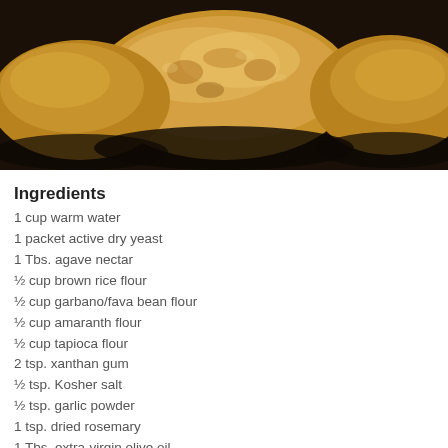[Figure (photo): Close-up photo of baked bread rolls with golden-brown crust on a dark background]
Ingredients
1 cup warm water
1 packet active dry yeast
1 Tbs. agave nectar
½ cup brown rice flour
½ cup garbano/fava bean flour
½ cup amaranth flour
½ cup tapioca flour
2 tsp. xanthan gum
½ tsp. Kosher salt
½ tsp. garlic powder
1 tsp. dried rosemary
1 Tbs. extra-virgin olive oil
Directions
Preheat the oven to 400 degrees. Stir the yeast into a cup of warm water. Add the agave nectar and allow the yeast to sit for